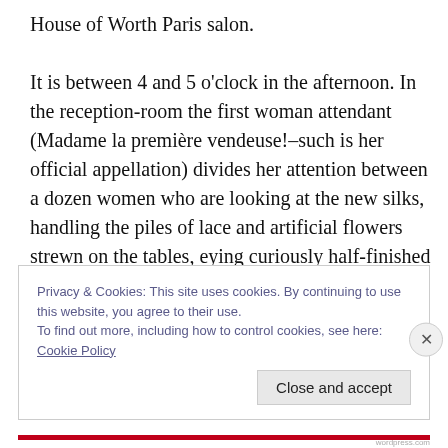House of Worth Paris salon.

It is between 4 and 5 o'clock in the afternoon. In the reception-room the first woman attendant (Madame la première vendeuse!–such is her official appellation) divides her attention between a dozen women who are looking at the new silks, handling the piles of lace and artificial flowers strewn on the tables, eying curiously half-finished skirts and bodices without sleeves that lie in heaps on the chairs and chattering in strange slang: “ Velvet is again the fashion this winter.” (On est au velours
Privacy & Cookies: This site uses cookies. By continuing to use this website, you agree to their use.
To find out more, including how to control cookies, see here: Cookie Policy
Close and accept